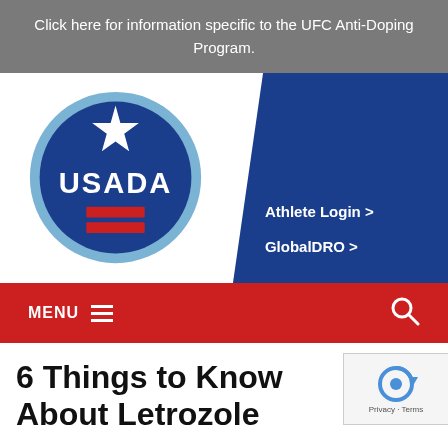Click here for information specific to the UFC Anti-Doping Program.
[Figure (logo): USADA logo — circular blue badge with white star at top, white text 'USADA', and two red horizontal bars at the bottom, surrounded by a light blue ring]
Athlete Login >
GlobalDRO >
MENU
6 Things to Know About Letrozole